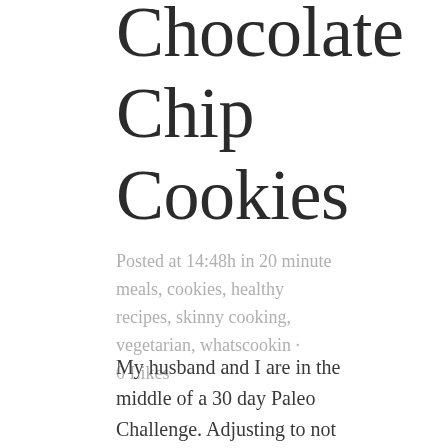Chocolate Chip Cookies
Posted at 14:48h in 20 minute meals, cookies, healthy recipes, skinny cooking, vegetarian, whatscookin · 0 Likes
My husband and I are in the middle of a 30 day Paleo Challenge. Adjusting to not consuming any processed food (including flour)…